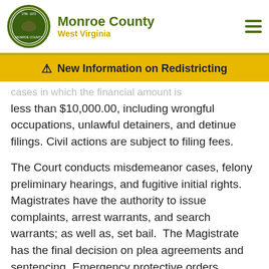Monroe County West Virginia
⚠ New Information on Redistricting
cases in which the financial amount is less than $10,000.00, including wrongful occupations, unlawful detainers, and detinue filings. Civil actions are subject to filing fees.
The Court conducts misdemeanor cases, felony preliminary hearings, and fugitive initial rights. Magistrates have the authority to issue complaints, arrest warrants, and search warrants; as well as, set bail.  The Magistrate has the final decision on plea agreements and sentencing. Emergency protective orders, temporary emergency protective orders, and more of future changes